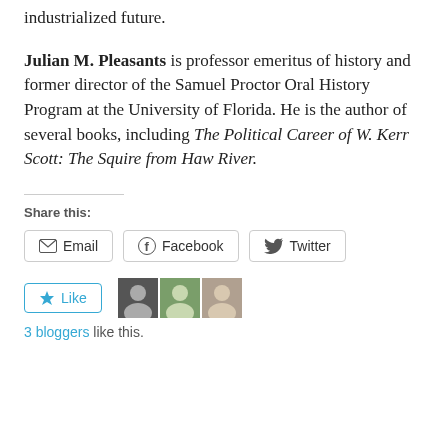industrialized future.
Julian M. Pleasants is professor emeritus of history and former director of the Samuel Proctor Oral History Program at the University of Florida. He is the author of several books, including The Political Career of W. Kerr Scott: The Squire from Haw River.
Share this:
[Figure (other): Share buttons: Email, Facebook, Twitter]
[Figure (other): Like button with 3 blogger avatars]
3 bloggers like this.